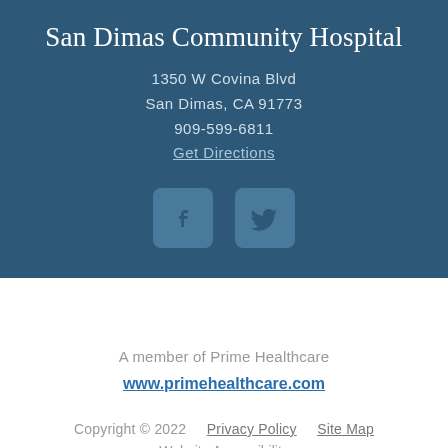San Dimas Community Hospital
1350 W Covina Blvd
San Dimas, CA 91773
909-599-6811
Get Directions
[Figure (logo): Facebook and Twitter social media icon buttons on dark blue background]
A member of Prime Healthcare
www.primehealthcare.com
Copyright © 2022    Privacy Policy    Site Map
Website Accessibility